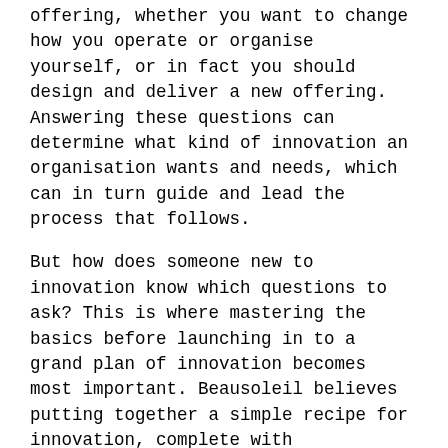offering, whether you want to change how you operate or organise yourself, or in fact you should design and deliver a new offering. Answering these questions can determine what kind of innovation an organisation wants and needs, which can in turn guide and lead the process that follows.
But how does someone new to innovation know which questions to ask? This is where mastering the basics before launching in to a grand plan of innovation becomes most important. Beausoleil believes putting together a simple recipe for innovation, complete with ingredients and steps, can help in this matter. Some of the initial steps she suggests are:
1. Ask yourself what you need to change. (Product, service, position?)